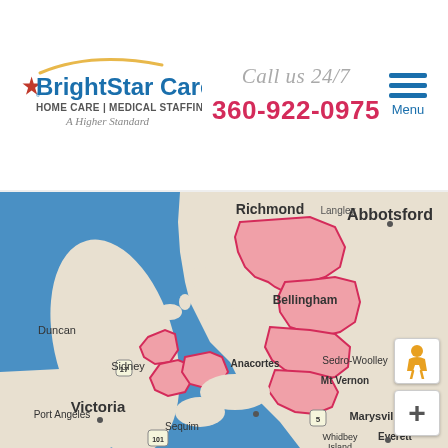[Figure (logo): BrightStar Care logo with star icon, arc graphic, blue text, HOME CARE | MEDICAL STAFFING, A Higher Standard tagline]
Call us 24/7
360-922-0975
[Figure (other): Hamburger menu icon with three horizontal blue lines and Menu label]
[Figure (map): Geographic map showing service area for BrightStar Care around Bellingham, Anacortes, Mt Vernon, and surrounding areas in northwestern Washington state and southwestern British Columbia. Service areas highlighted in pink/red with red outlines. Map shows cities including Richmond, Abbotsford, Langley, Duncan, Sidney, Victoria, Port Angeles, Sequim, Anacortes, Sedro-Woolley, Mt Vernon, Marysville, Whidbey Island, Everett. Blue areas represent water bodies. Road 17, 5, 101 visible.]